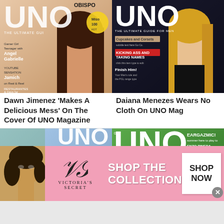[Figure (photo): Magazine cover UNO with woman, text OBISPO, Angel Gabrielle, Jamich]
Dawn Jimenez 'Makes A Delicious Mess' On The Cover Of UNO Magazine
[Figure (photo): Magazine cover UNO black background with woman in black outfit, Cupcakes and Corsets, Kicking Ass and Taking Names, Finish Him!]
Daiana Menezes Wears No Cloth On UNO Mag
[Figure (photo): UNO Magazine cover with woman in red bikini]
Ryza Cenon Is Hot And Sweet At The Same Time In UNO Magazine's 2014
[Figure (photo): UNO Magazine green cover with woman in pink, Eargazmic, Enzo Pineda, Jun Kung, Encore! Encore!]
The Reinvented Roxee B: The Lady Gets More Daring In And Out Of The
[Figure (advertisement): Victoria's Secret advertisement: SHOP THE COLLECTION with SHOP NOW button, woman's face on left, pink background]